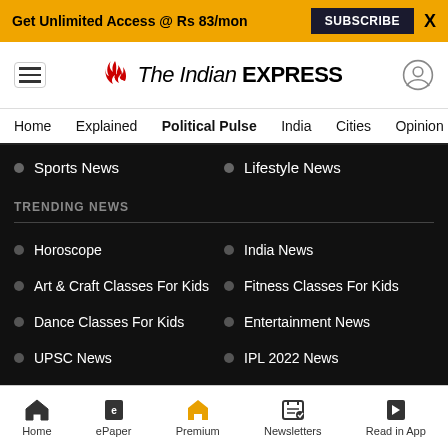Get Unlimited Access @ Rs 83/mon | SUBSCRIBE | X
[Figure (logo): The Indian Express logo with hamburger menu and user icon]
Home | Explained | Political Pulse | India | Cities | Opinion | Entertainment
Sports News
Lifestyle News
TRENDING NEWS
Horoscope
India News
Art & Craft Classes For Kids
Fitness Classes For Kids
Dance Classes For Kids
Entertainment News
UPSC News
IPL 2022 News
Buy All-Access Pass
Subscribe To The Indian Express
Home | ePaper | Premium | Newsletters | Read in App